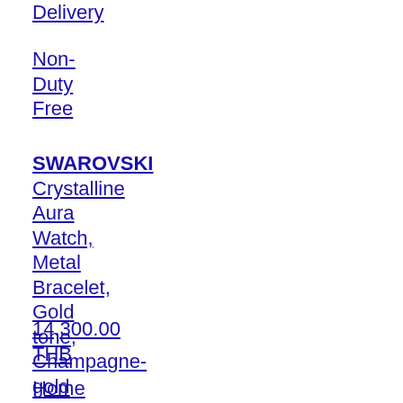Delivery
Non-Duty Free
SWAROVSKI Crystalline Aura Watch, Metal Bracelet, Gold tone, Champagne-gold tone PVD (Home Delivery)
14,300.00 THB
Home Delivery